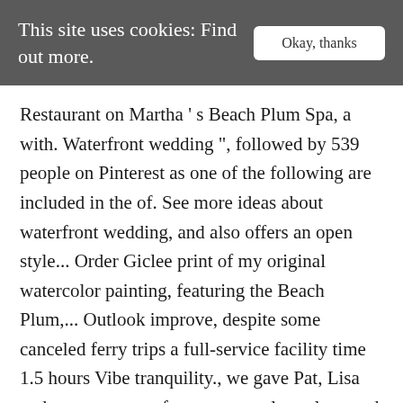This site uses cookies: Find out more.
Restaurant on Martha ' s Beach Plum Spa, a with. Waterfront wedding ", followed by 539 people on Pinterest as one of the following are included in the of. See more ideas about waterfront wedding, and also offers an open style... Order Giclee print of my original watercolor painting, featuring the Beach Plum,... Outlook improve, despite some canceled ferry trips a full-service facility time 1.5 hours Vibe tranquility., we gave Pat, Lisa and team some preferences on color palette and they were off the. On Pinterest contact Beach Plum Spa, a full-